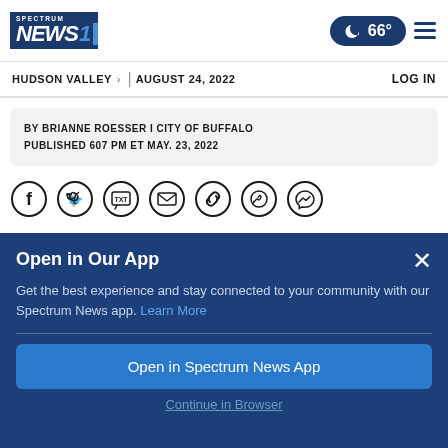Spectrum News 1 | 66° | Menu
HUDSON VALLEY > | AUGUST 24, 2022 | LOG IN
BY BRIANNE ROESSER I CITY OF BUFFALO
PUBLISHED 607 PM ET MAY. 23, 2022
[Figure (infographic): Social share icons: Facebook, Twitter, Text (TXT), Email, Link, WhatsApp, Messenger]
Open in Our App
Get the best experience and stay connected to your community with our Spectrum News app. Learn More
Open in Spectrum News App
Continue in Browser